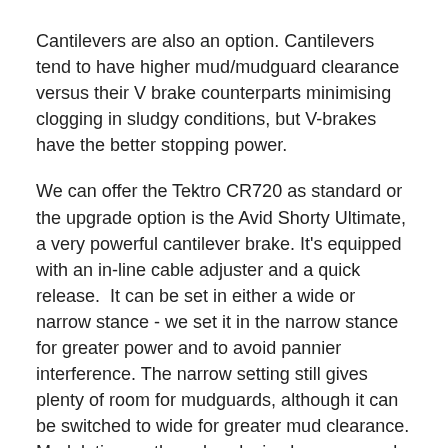Cantilevers are also an option. Cantilevers tend to have higher mud/mudguard clearance versus their V brake counterparts minimising clogging in sludgy conditions, but V-brakes have the better stopping power.
We can offer the Tektro CR720 as standard or the upgrade option is the Avid Shorty Ultimate, a very powerful cantilever brake. It's equipped with an in-line cable adjuster and a quick release. It can be set in either a wide or narrow stance - we set it in the narrow stance for greater power and to avoid pannier interference. The narrow setting still gives plenty of room for mudguards, although it can be switched to wide for greater mud clearance. Modulation on these breaks is also very good.
With cantilevers the brake levers we use are TRP RRL SR Alloy drilled. The hoods are flat and textured for enhanced